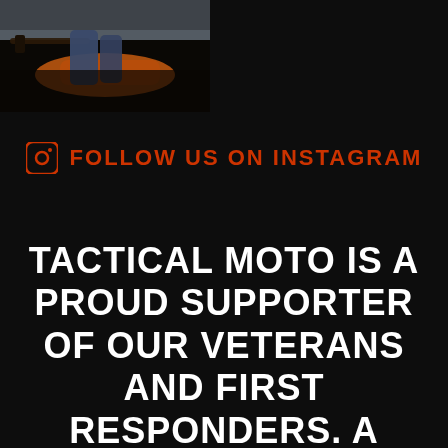[Figure (photo): Partial photo of a person riding a motorcycle, showing legs/jeans and orange motorcycle seat, dark moody background, cropped in upper left corner]
FOLLOW US ON INSTAGRAM
TACTICAL MOTO IS A PROUD SUPPORTER OF OUR VETERANS AND FIRST RESPONDERS. A PORTION OF ALL SALES GO TO SUPPORT OUR HEROES.